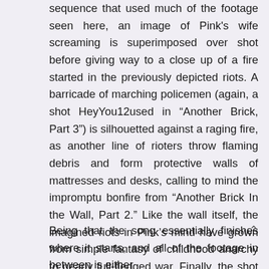sequence that used much of the footage seen here, an image of Pink's wife screaming is superimposed over shot before giving way to a close up of a fire started in the previously depicted riots. A barricade of marching policemen (again, a shot HeyYou12used in “Another Brick, Part 3”) is silhouetted against a raging fire, as another line of rioters throw flaming debris and form protective walls of mattresses and desks, calling to mind the impromptu bonfire from “Another Brick In the Wall, Part 2.” Like the wall itself, the imagined riots in Pink’s mind have grown from simple fantasy of childhood anarchy to nearly full-fledged war. Finally, the shot of marching policemen changes back to the beginning shot of Pink against his wall searching for a way out.
Being that the song essentially finishes where it starts, and all of the footage in between is either